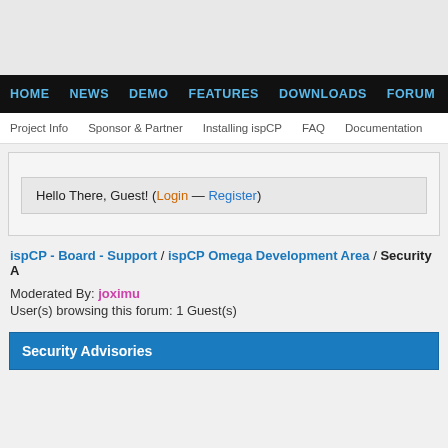HOME  NEWS  DEMO  FEATURES  DOWNLOADS  FORUM
Project Info  Sponsor & Partner  Installing ispCP  FAQ  Documentation
Hello There, Guest! (Login — Register)
ispCP - Board - Support / ispCP Omega Development Area / Security A
Moderated By: joximu
User(s) browsing this forum: 1 Guest(s)
Security Advisories